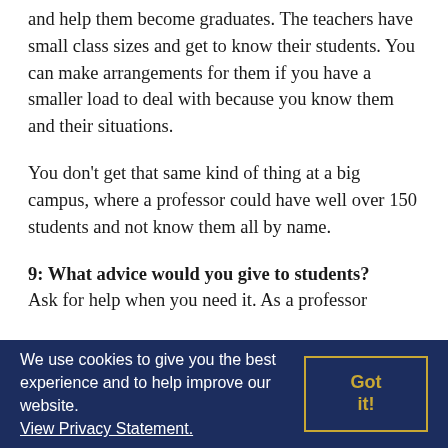and help them become graduates. The teachers have small class sizes and get to know their students. You can make arrangements for them if you have a smaller load to deal with because you know them and their situations.
You don't get that same kind of thing at a big campus, where a professor could have well over 150 students and not know them all by name.
9: What advice would you give to students?
Ask for help when you need it. As a professor
We use cookies to give you the best experience and to help improve our website. View Privacy Statement.